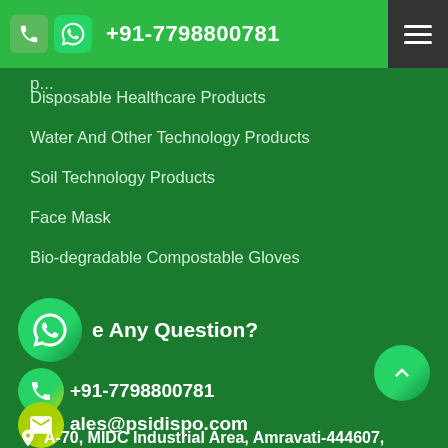+91-7798800781
Disposable Healthcare Products
Water And Other Technology Products
Soil Technology Products
Face Mask
Bio-degradable Compostable Gloves
Have Any Question?
+91-7798800781
sales@psidispo.com
A-70, MIDC Industrial Area, Amravati-444607,